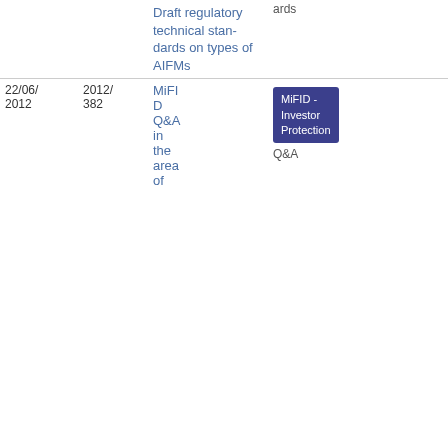| Date | Ref | Title | Category | Type | Download |
| --- | --- | --- | --- | --- | --- |
|  |  | Draft regulatory technical standards on types of AIFMs |  | ards
6.08 KB |  |
| 22/06/2012 | 2012/382 | MiFID Q&A in the area of | MiFID - Investor Protection
Q&A | PDF
319.78 KB |  |